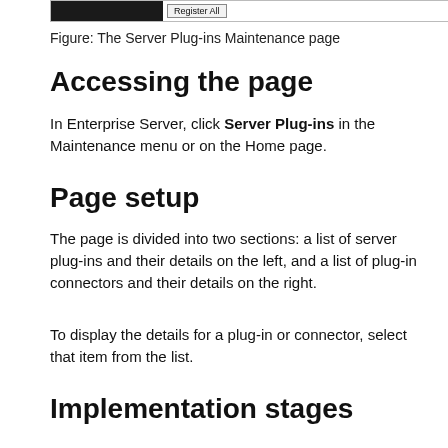[Figure (screenshot): Screenshot of Server Plug-ins Maintenance page showing a black region and a Register All button]
Figure: The Server Plug-ins Maintenance page
Accessing the page
In Enterprise Server, click Server Plug-ins in the Maintenance menu or on the Home page.
Page setup
The page is divided into two sections: a list of server plug-ins and their details on the left, and a list of plug-in connectors and their details on the right.
To display the details for a plug-in or connector, select that item from the list.
Implementation stages